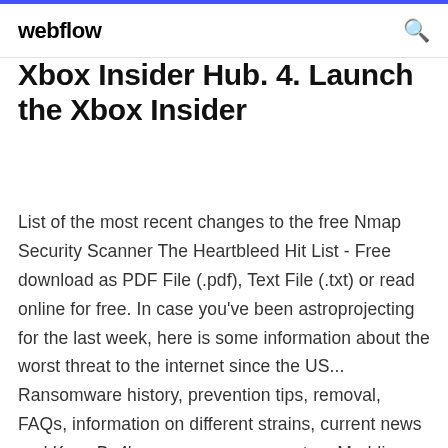webflow
Xbox Insider Hub. 4. Launch the Xbox Insider
List of the most recent changes to the free Nmap Security Scanner The Heartbleed Hit List - Free download as PDF File (.pdf), Text File (.txt) or read online for free. In case you've been astroprojecting for the last week, here is some information about the worst threat to the internet since the US... Ransomware history, prevention tips, removal, FAQs, information on different strains, current news and KnowBe4's ransomware guarantee. Modding Tools for Minecraft (MC) Dump all your items into one chest, and have them sorted into multiple